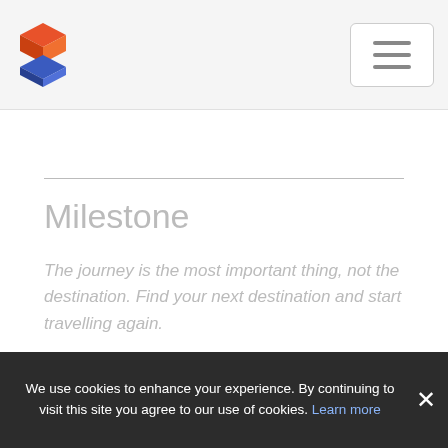Milestone site header with logo and hamburger menu
Milestone
The journey is the most important thing, not the destination. Find your next destination and start travelling again.
mauroservienti
@mauroservienti
Subscribe to RSS
Contact
Privacy
Credits
We use cookies to enhance your experience. By continuing to visit this site you agree to our use of cookies. Learn more